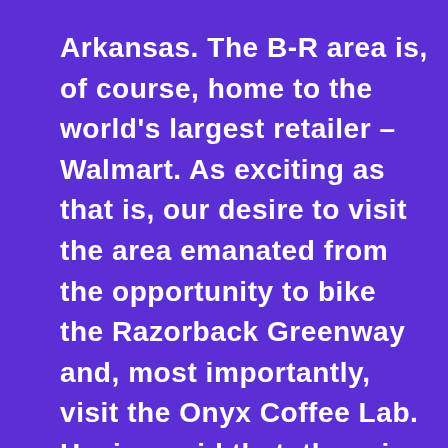Arkansas. The B-R area is, of course, home to the world's largest retailer – Walmart. As exciting as that is, our desire to visit the area emanated from the opportunity to bike the Razorback Greenway and, most importantly, visit the Onyx Coffee Lab. Having said that, there is plenty to do in the area in addition to biking and drinking coffee and tea. More on that at the end of the post.